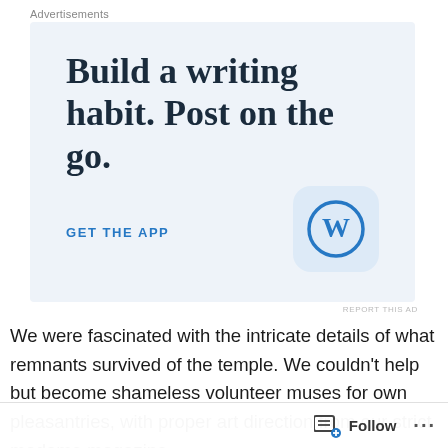Advertisements
[Figure (screenshot): WordPress app advertisement with light blue background. Large serif text reads 'Build a writing habit. Post on the go.' with a blue 'GET THE APP' link and WordPress app icon (blue W on rounded square).]
REPORT THIS AD
We were fascinated with the intricate details of what remnants survived of the temple.  We couldn't help but become shameless volunteer muses for own pleasantries, with proper art direction from our strict madame magazine
Follow ...